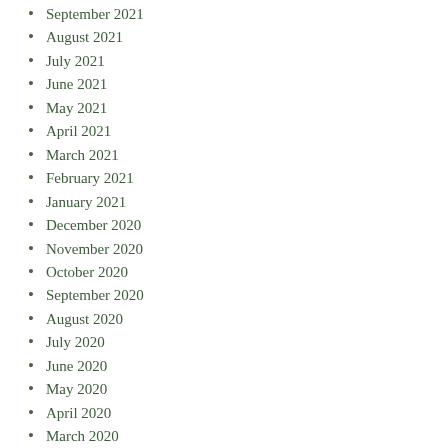September 2021
August 2021
July 2021
June 2021
May 2021
April 2021
March 2021
February 2021
January 2021
December 2020
November 2020
October 2020
September 2020
August 2020
July 2020
June 2020
May 2020
April 2020
March 2020
February 2020
January 2020
December 2019
November 2019
October 2019
September 2019
August 2019
July 2019